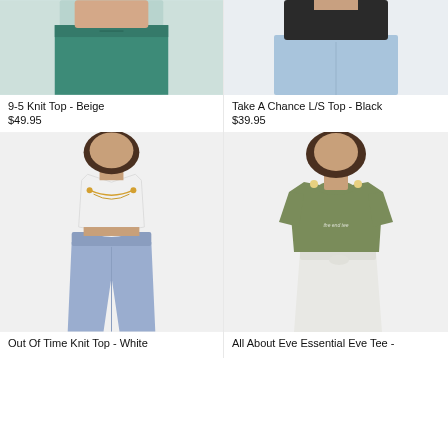[Figure (photo): Cropped photo of model wearing green/teal pants and a matching top, showing torso area only]
[Figure (photo): Cropped photo of model wearing light blue jeans and a black long-sleeve top, showing torso area only]
9-5 Knit Top - Beige
$49.95
Take A Chance L/S Top - Black
$39.95
[Figure (photo): Full photo of model wearing white halter crop top with cutout detail and blue/periwinkle high-waist flare pants]
[Figure (photo): Full photo of model wearing olive green graphic tee and white mini skirt]
Out Of Time Knit Top - White
All About Eve Essential Eve Tee -